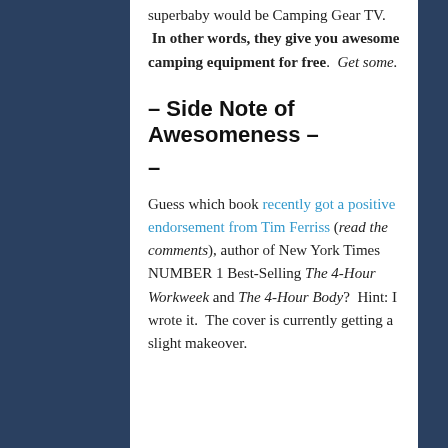superbaby would be Camping Gear TV.  In other words, they give you awesome camping equipment for free.  Get some.
– Side Note of Awesomeness –
Guess which book recently got a positive endorsement from Tim Ferriss (read the comments), author of New York Times NUMBER 1 Best-Selling The 4-Hour Workweek and The 4-Hour Body?  Hint: I wrote it.  The cover is currently getting a slight makeover.